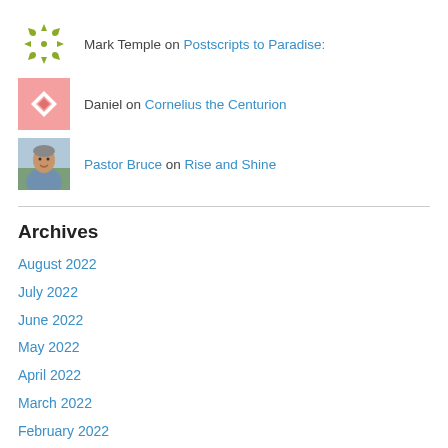Mark Temple on Postscripts to Paradise:
Daniel on Cornelius the Centurion
Pastor Bruce on Rise and Shine
Archives
August 2022
July 2022
June 2022
May 2022
April 2022
March 2022
February 2022
January 2022